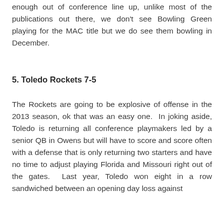enough out of conference line up, unlike most of the publications out there, we don't see Bowling Green playing for the MAC title but we do see them bowling in December.
5. Toledo Rockets 7-5
The Rockets are going to be explosive of offense in the 2013 season, ok that was an easy one.  In joking aside, Toledo is returning all conference playmakers led by a senior QB in Owens but will have to score and score often with a defense that is only returning two starters and have no time to adjust playing Florida and Missouri right out of the gates.  Last year, Toledo won eight in a row sandwiched between an opening day loss against